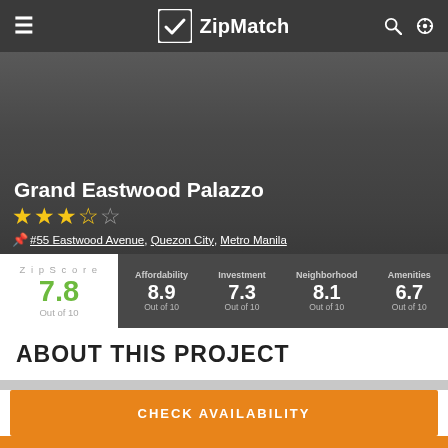ZipMatch
Grand Eastwood Palazzo
★★★½☆
#55 Eastwood Avenue , Quezon City, Metro Manila
| ZipScore | Affordability | Investment | Neighborhood | Amenities |
| --- | --- | --- | --- | --- |
| 7.8
Out of 10 | 8.9
Out of 10 | 7.3
Out of 10 | 8.1
Out of 10 | 6.7
Out of 10 |
ABOUT THIS PROJECT
CHECK AVAILABILITY